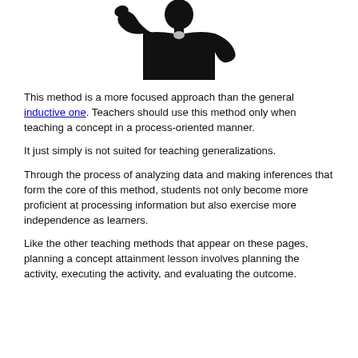[Figure (photo): Silhouette of a person (likely a teacher or thinker) against a white background, shown from the waist up, with head tilted.]
This method is a more focused approach than the general inductive one. Teachers should use this method only when teaching a concept in a process-oriented manner.
It just simply is not suited for teaching generalizations.
Through the process of analyzing data and making inferences that form the core of this method, students not only become more proficient at processing information but also exercise more independence as learners.
Like the other teaching methods that appear on these pages, planning a concept attainment lesson involves planning the activity, executing the activity, and evaluating the outcome.